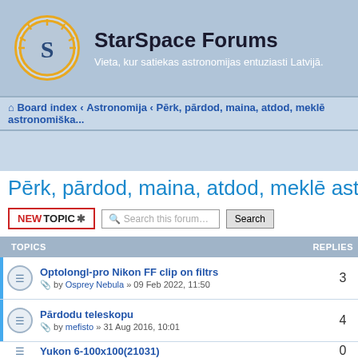StarSpace Forums — Vieta, kur satiekas astronomijas entuziasti Latvijā.
Board index · Astronomija · Pērk, pārdod, maina, atdod, meklē astronomisku...
Pērk, pārdod, maina, atdod, meklē astronomiska
| TOPICS | REPLIES |
| --- | --- |
| Optolongl-pro Nikon FF clip on filtrs — by Osprey Nebula » 09 Feb 2022, 11:50 | 3 |
| Pārdodu teleskopu — by mefisto » 31 Aug 2016, 10:01 | 4 |
| Yukon 6-100x100(21031) — by ssliedes » 10 Dec 2015, 15:11 | 0 |
| Astronauta tērps — by MadaraMakovska » 18 Sep 2015, 12:05 | 2 |
| Pārdodu GPS — by aigarskk » 16 Sep 2015, 16:10 | 0 |